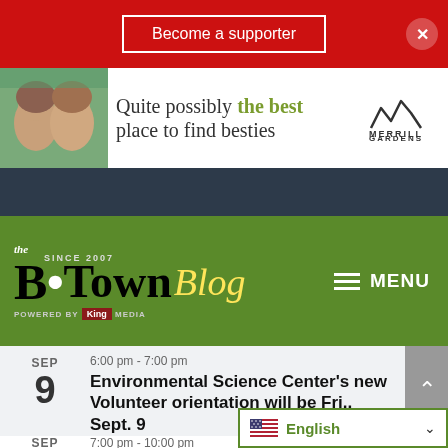Become a supporter
[Figure (photo): Advertisement for Merrill Gardens senior living: two elderly women smiling outdoors, with text 'Quite possibly the best place to find besties' and Merrill Gardens logo]
[Figure (logo): B•Town Blog logo on green header: 'the B•Town Blog Since 2007 Powered by King Media' with MENU hamburger navigation]
SEP 9 · 6:00 pm - 7:00 pm · Environmental Science Center's new Volunteer orientation will be Fri., Sept. 9
SEP 10 · 7:00 pm - 10:00 pm · Burien's amazing Arts-A-Glow returning to downtown on Saturday, Sept. 10